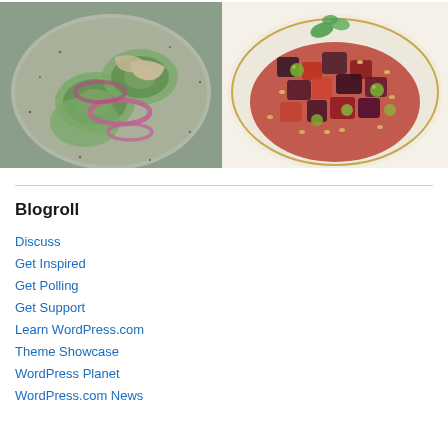[Figure (photo): Two food photos side by side: left shows a plate with sliced cucumbers and red onion rings in a grey speckled bowl; right shows a colorful Mediterranean dish with eggplant, olives, pine nuts, and tomatoes garnished with mint leaves on a white plate.]
Blogroll
Discuss
Get Inspired
Get Polling
Get Support
Learn WordPress.com
Theme Showcase
WordPress Planet
WordPress.com News